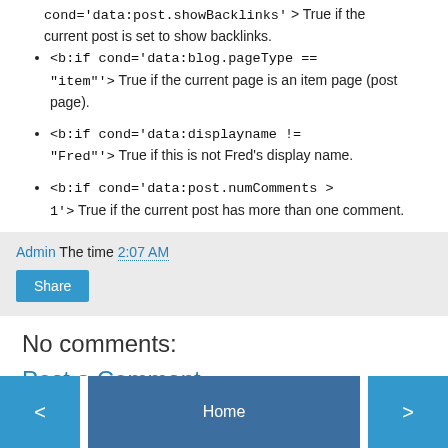<b:if cond='data:post.showBacklinks'> True if the current post is set to show backlinks.
<b:if cond='data:blog.pageType == "item"'> True if the current page is an item page (post page).
<b:if cond='data:displayname != "Fred"'> True if this is not Fred's display name.
<b:if cond='data:post.numComments > 1'> True if the current post has more than one comment.
Admin The time 2:07 AM
Share
No comments:
Post a Comment
< Home >